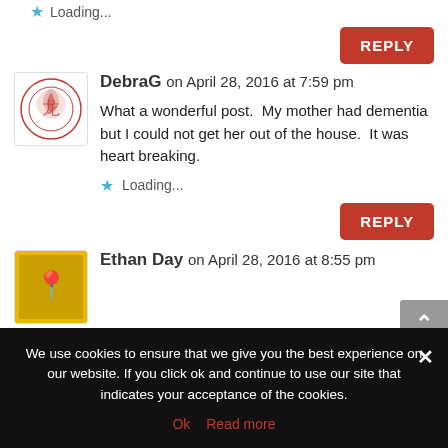Loading...
REPLY
DebraG on April 28, 2016 at 7:59 pm
What a wonderful post.  My mother had dementia but I could not get her out of the house.  It was heart breaking.
Loading...
REPLY
Ethan Day on April 28, 2016 at 8:55 pm
We use cookies to ensure that we give you the best experience on our website. If you click ok and continue to use our site that indicates your acceptance of the cookies.
Ok  Read more